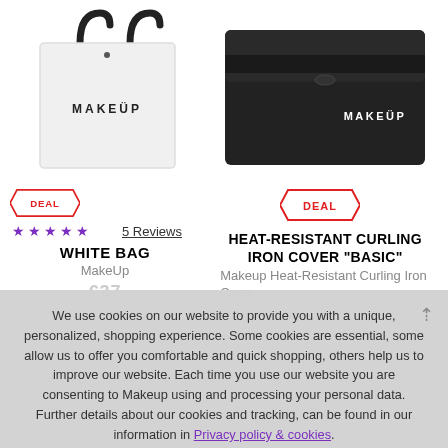[Figure (photo): White MakeUp tote bag with black handles on white background]
[Figure (photo): Black MakeUp heat-resistant curling iron cover case on white background]
DEAL
DEAL
★★★★★  5 Reviews
WHITE BAG
MakeUp
HEAT-RESISTANT CURLING IRON COVER "BASIC"
Makeup Heat-Resistant Curling Iron Cover
We use cookies on our website to provide you with a unique, personalized, shopping experience. Some cookies are essential, some allow us to offer you comfortable and quick shopping, others help us to improve our website. Each time you use our website you are consenting to Makeup using and processing your personal data. Further details about our cookies and tracking, can be found in our information in Privacy policy & cookies.
ACCEPT